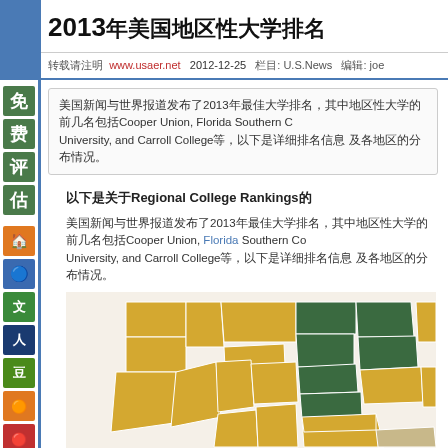2013年美国地区性大学排名
转载请注明 www.usaer.net 2012-12-25 栏目: U.S.News 编辑: joe
美国新闻与世界报道发布了2013年最佳大学排名，其中地区性大学的前几名包括Cooper Union, Florida Southern College, John Carroll University, and Carroll College等，以下是详细排名信息 及各地区的分布情况。
以下是关于Regional College Rankings的
美国新闻与世界报道发布了2013年最佳大学排名，其中地区性大学的前几名包括Cooper Union, Florida Southern College, John Carroll University, and Carroll College等，以下是详细排名信息 及各地区的分布情况。
[Figure (map): US regional college rankings map showing states colored in gold/yellow and dark green regions]